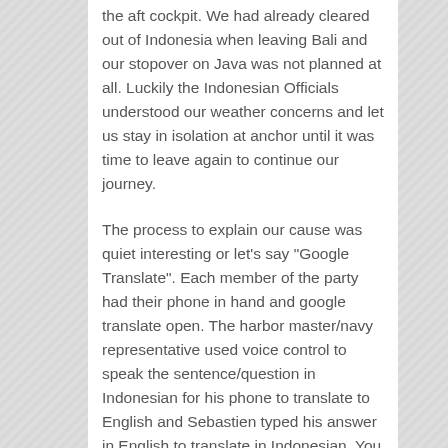the aft cockpit. We had already cleared out of Indonesia when leaving Bali and our stopover on Java was not planned at all. Luckily the Indonesian Officials understood our weather concerns and let us stay in isolation at anchor until it was time to leave again to continue our journey.
The process to explain our cause was quiet interesting or let’s say “Google Translate”. Each member of the party had their phone in hand and google translate open. The harbor master/navy representative used voice control to speak the sentence/question in Indonesian for his phone to translate to English and Sebastien typed his answer in English to translate in Indonesian. You can imagine that the whole process took a while :-) And in the middle we had to do “lots of group photos”. Each party [Harbor Master, Coast